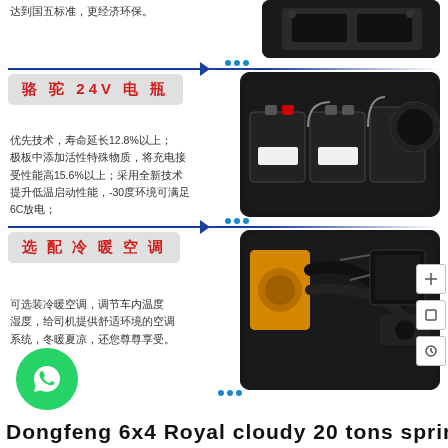达到国五标准，更经济环保。
[Figure (photo): Close-up photo of a vehicle engine or mechanical component, top section]
骆 驼 24V 电 瓶
[Figure (photo): Photo of vehicle battery compartment showing 24V batteries installed]
优先技术，寿命延长12.8%以上；极板中添加活性特殊物质，将充电接受性能高15.6%以上；采用全新技术提升低温启动性能，-30度环境可满足6C放电；
选 配 冷 暖 空 调
[Figure (photo): Photo of vehicle engine bay showing air conditioning components and hoses]
可选装冷暖空调，调节车内温度湿度，给司机提供舒适环境的空调系统，冬暖夏凉，还您尊尊享受。
[Figure (logo): WhatsApp contact button (green circle with phone icon)]
Dongfeng  6x4  Royal  cloudy  20  tons  sprinkler